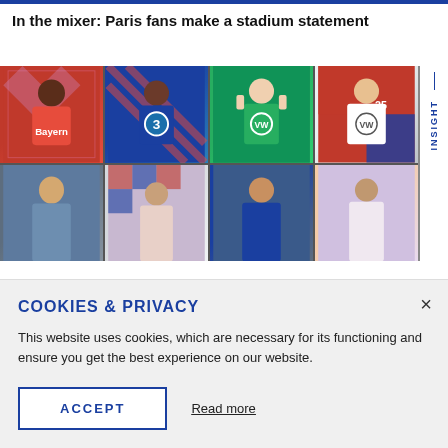In the mixer: Paris fans make a stadium statement
[Figure (photo): Grid of 8 women's football player photos in 2-row 4-column layout, with players in various club jerseys on colorful backgrounds]
INSIGHT
COOKIES & PRIVACY
This website uses cookies, which are necessary for its functioning and ensure you get the best experience on our website.
ACCEPT
Read more